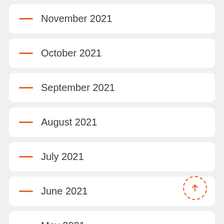November 2021
October 2021
September 2021
August 2021
July 2021
June 2021
May 2021